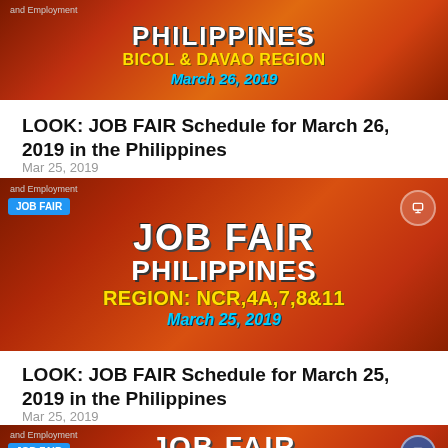[Figure (infographic): Job Fair Philippines banner showing Bicol & Davao Region, March 26, 2019, with orange/red gradient background and colorful text]
LOOK: JOB FAIR Schedule for March 26, 2019 in the Philippines
Mar 25, 2019
[Figure (infographic): Job Fair Philippines banner showing Region: NCR, 4A, 7, 8 & 11, March 25, 2019, with JOB FAIR badge and share icon]
LOOK: JOB FAIR Schedule for March 25, 2019 in the Philippines
Mar 25, 2019
[Figure (infographic): Partial Job Fair Philippines banner at bottom of page, showing JOB FAIR badge and partial PHILIPPINES text]